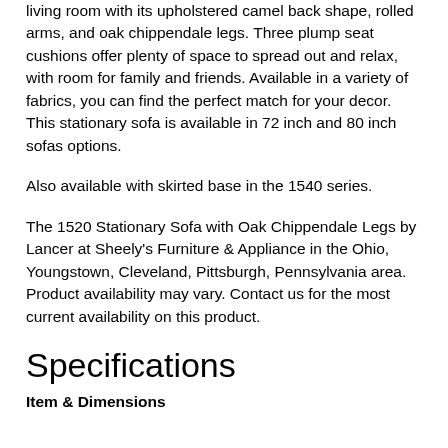living room with its upholstered camel back shape, rolled arms, and oak chippendale legs. Three plump seat cushions offer plenty of space to spread out and relax, with room for family and friends. Available in a variety of fabrics, you can find the perfect match for your decor. This stationary sofa is available in 72 inch and 80 inch sofas options.
Also available with skirted base in the 1540 series.
The 1520 Stationary Sofa with Oak Chippendale Legs by Lancer at Sheely's Furniture & Appliance in the Ohio, Youngstown, Cleveland, Pittsburgh, Pennsylvania area. Product availability may vary. Contact us for the most current availability on this product.
Specifications
Item & Dimensions